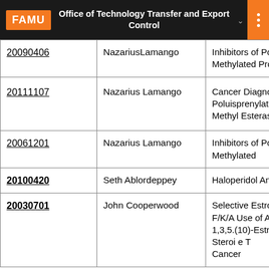FAMU  Office of Technology Transfer and Export Control
| ID | Inventor | Title |
| --- | --- | --- |
| 20090406 | NazariusLamango | Inhibitors of Pol Methylated Pro... |
| 20111107 | Nazarius Lamango | Cancer Diagnos... Poluisprenylate... Methyl Esterase... |
| 20061201 | Nazarius Lamango | Inhibitors of Pol Methylated |
| 20100420 | Seth Ablordeppey | Haloperidol Ana... |
| 20030701 | John Cooperwood | Selective Estrog... F/K/A Use of An... 1,3,5.(10)-Estrat... Steroi... e T... Cancer |